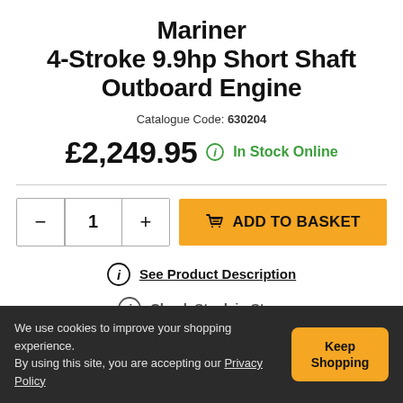Mariner 4-Stroke 9.9hp Short Shaft Outboard Engine
Catalogue Code: 630204
£2,249.95  In Stock Online
1  ADD TO BASKET
See Product Description
Check Stock in Store
We use cookies to improve your shopping experience. By using this site, you are accepting our Privacy Policy
Keep Shopping